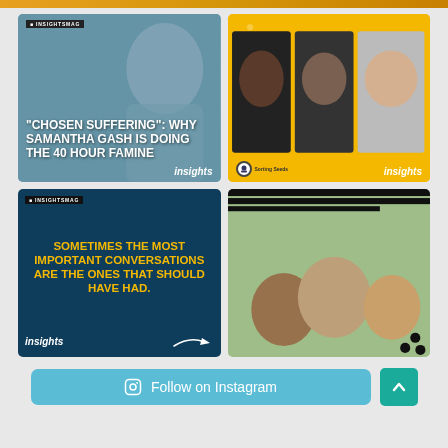[Figure (screenshot): Top decorative banner with golden/orange floral pattern]
[Figure (screenshot): Insights magazine card: 'Chosen Suffering: Why Samantha Gash is Doing the 40 Hour Famine' with woman's photo]
[Figure (screenshot): Insights magazine card: Yellow background with three portrait photos of people]
[Figure (screenshot): Insights magazine card: Dark teal background with quote 'Sometimes the most important conversations are the ones that should have had.']
[Figure (screenshot): Insights magazine card: Photo of three people outdoors with black-and-white stripe pattern and dots]
Follow on Instagram
[Figure (screenshot): Scroll-to-top button with upward chevron]